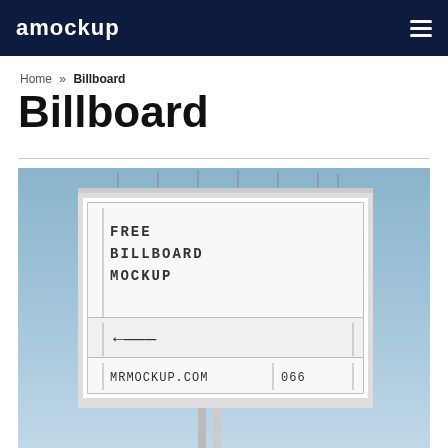amockup
Home » Billboard
Billboard
[Figure (photo): A billboard mockup photo showing a tall white billboard sign against a blue sky background. The billboard displays placeholder text reading 'FREE BILLBOARD MOCKUP' and below it shows an arrow and 'MRMOCKUP.COM | 066'.]